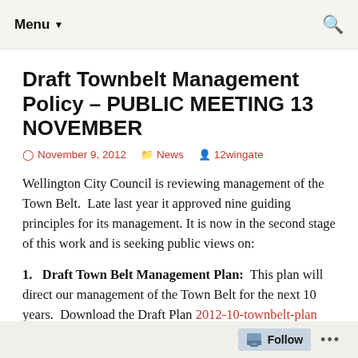Menu ▼
Draft Townbelt Management Policy – PUBLIC MEETING 13 NOVEMBER
November 9, 2012   News   12wingate
Wellington City Council is reviewing management of the Town Belt.  Late last year it approved nine guiding principles for its management. It is now in the second stage of this work and is seeking public views on:
1.   Draft Town Belt Management Plan: This plan will direct our management of the Town Belt for the next 10 years.  Download the Draft Plan 2012-10-townbelt-plan (warning it is a whopper!). Download Summary of the
Follow ...